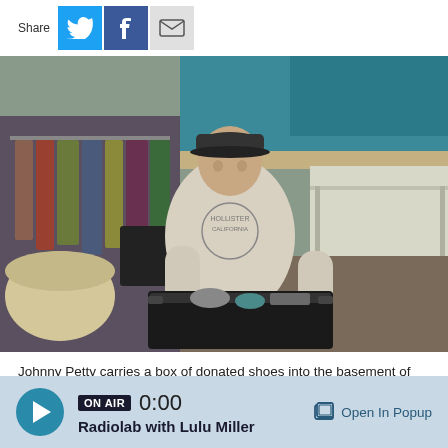Share
[Figure (photo): A man in a gray Hollister hoodie and baseball cap carrying a large black plastic bin/tote container in what appears to be the basement of a thrift store, with clothing racks visible on the left and white shelving on the right.]
Johnny Petty carries a box of donated shoes into the basement of Shoe Away Hunger. Petty's addiction to cocaine and heroin has made it difficult to maintain employment, but he sees volunteering as a step in the right direction. Evan Frost | MPR News
ON AIR 0:00 Radiolab with Lulu Miller Open In Popup